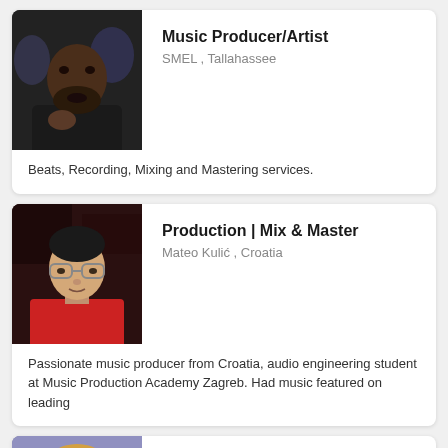[Figure (photo): Photo of a Black man speaking, dark background]
Music Producer/Artist
SMEL , Tallahassee
Beats, Recording, Mixing and Mastering services.
[Figure (photo): Photo of a young man with glasses wearing a red shirt]
Production | Mix & Master
Mateo Kulić , Croatia
Passionate music producer from Croatia, audio engineering student at Music Production Academy Zagreb. Had music featured on leading
[Figure (photo): Photo of a blonde woman looking at camera]
vocal producer/filmmaker
Needy for vocals , Amsterdam